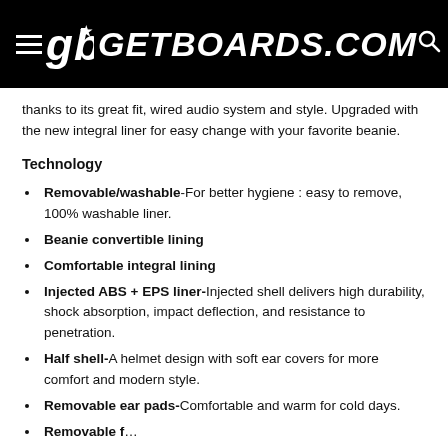≡ gb GETBOARDS.COM 🔍
thanks to its great fit, wired audio system and style. Upgraded with the new integral liner for easy change with your favorite beanie.
Technology
Removable/washable-For better hygiene : easy to remove, 100% washable liner.
Beanie convertible lining
Comfortable integral lining
Injected ABS + EPS liner-Injected shell delivers high durability, shock absorption, impact deflection, and resistance to penetration.
Half shell-A helmet design with soft ear covers for more comfort and modern style.
Removable ear pads-Comfortable and warm for cold days.
Removable f...